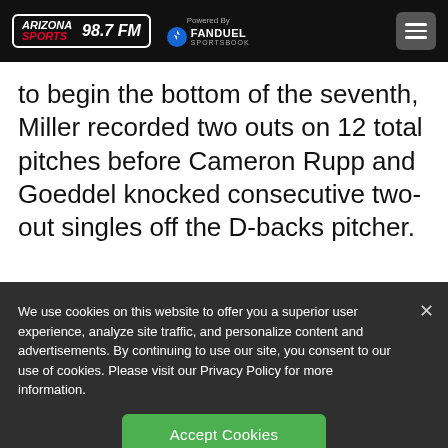[Figure (logo): Arizona Sports 98.7 FM logo with FanDuel Sportsbook powered by branding and hamburger menu button on black header bar]
to begin the bottom of the seventh, Miller recorded two outs on 12 total pitches before Cameron Rupp and Goeddel knocked consecutive two-out singles off the D-backs pitcher.
We use cookies on this website to offer you a superior user experience, analyze site traffic, and personalize content and advertisements. By continuing to use our site, you consent to our use of cookies. Please visit our Privacy Policy for more information.
Accept Cookies